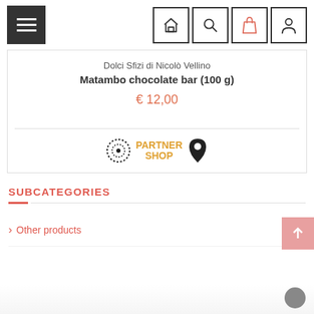Navigation header with hamburger menu and icons: home, search, bag, user
Dolci Sfizi di Nicolò Vellino
Matambo chocolate bar (100 g)
€ 12,00
[Figure (logo): Partner Shop logo with dotted circle icon and map pin icon]
SUBCATEGORIES
Other products 37